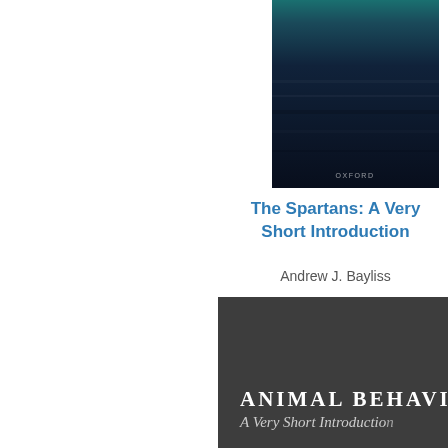[Figure (photo): Book cover for 'The Spartans: A Very Short Introduction' — dark navy blue textured background with teal top strip, Oxford label at bottom]
[Figure (photo): Partial book cover visible on right edge — red background]
The Spartans: A Very Short Introduction
Contem... Sho...
Andrew J. Bayliss
Ju...
[Figure (photo): Book cover for 'Animal Behaviour: A Very Short Introduction' — dark charcoal grey background with white title text in small caps and italic subtitle]
Animal Behaviour A Very Short Introduction